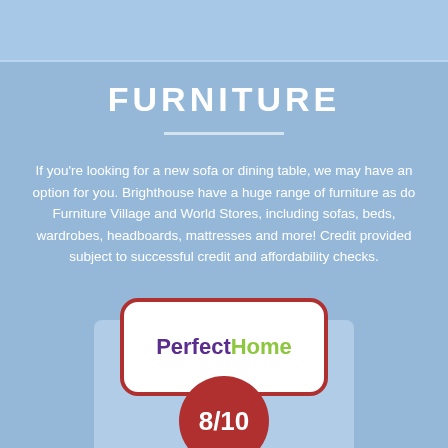FURNITURE
If you're looking for a new sofa or dining table, we may have an option for you. Brighthouse have a huge range of furniture as do Furniture Village and World Stores, including sofas, beds, wardrobes, headboards, mattresses and more! Credit provided subject to successful credit and affordability checks.
[Figure (logo): PerfectHome logo in a white rounded rectangle with dark red border. 'Perfect' in purple, 'Home' in green.]
[Figure (infographic): Dark red circle with white text '8/10' score rating]